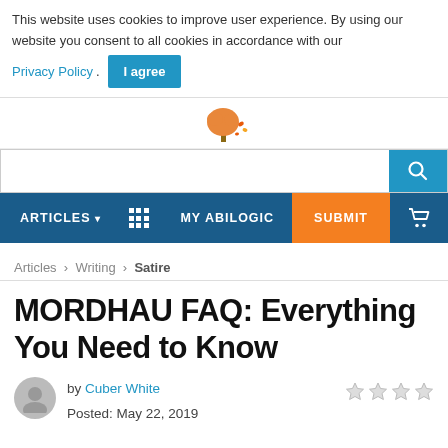This website uses cookies to improve user experience. By using our website you consent to all cookies in accordance with our Privacy Policy. I agree
[Figure (logo): Tree logo with orange autumn leaves]
[Figure (screenshot): Search bar with magnifying glass icon on teal background]
ARTICLES  MY ABILOGIC  SUBMIT
Articles > Writing > Satire
MORDHAU FAQ: Everything You Need to Know
by Cuber White
Posted: May 22, 2019